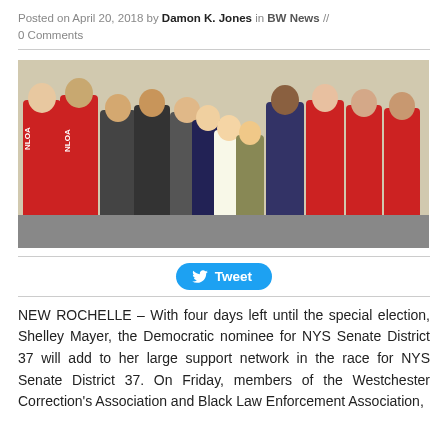Posted on April 20, 2018 by Damon K. Jones in BW News // 0 Comments
[Figure (photo): Group photo of approximately 12 people, several wearing red NLOA jackets, posing together indoors.]
[Figure (screenshot): Twitter Tweet button in blue rounded rectangle.]
NEW ROCHELLE – With four days left until the special election, Shelley Mayer, the Democratic nominee for NYS Senate District 37 will add to her large support network in the race for NYS Senate District 37. On Friday, members of the Westchester Correction's Association and Black Law Enforcement Association,